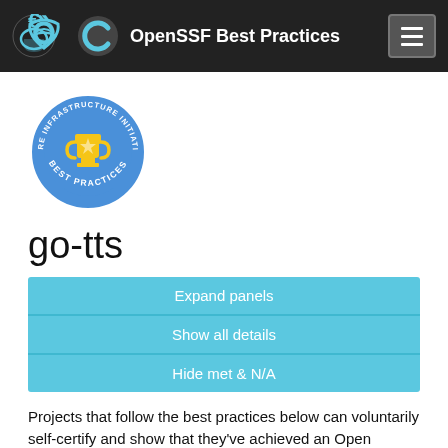OpenSSF Best Practices
[Figure (logo): OpenSSF Best Practices badge: blue circle with trophy icon and text 'CORE INFRASTRUCTURE INITIATIVE BEST PRACTICES']
go-tts
Expand panels
Show all details
Hide met & N/A
Projects that follow the best practices below can voluntarily self-certify and show that they've achieved an Open Source Security Foundation (OpenSSF) best practices badge.
Show details